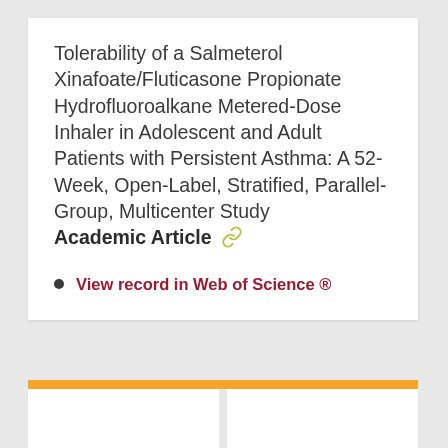Tolerability of a Salmeterol Xinafoate/Fluticasone Propionate Hydrofluoroalkane Metered-Dose Inhaler in Adolescent and Adult Patients with Persistent Asthma: A 52-Week, Open-Label, Stratified, Parallel-Group, Multicenter Study   Academic Article
View record in Web of Science ®